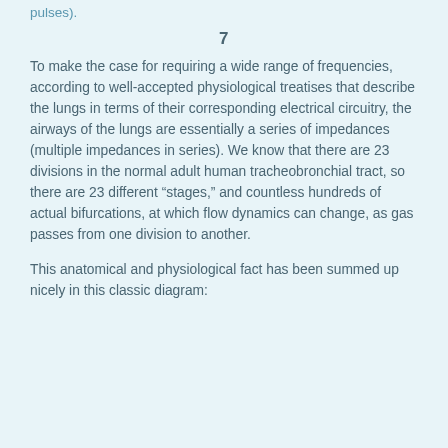pulses).
7
To make the case for requiring a wide range of frequencies, according to well-accepted physiological treatises that describe the lungs in terms of their corresponding electrical circuitry, the airways of the lungs are essentially a series of impedances (multiple impedances in series). We know that there are 23 divisions in the normal adult human tracheobronchial tract, so there are 23 different “stages,” and countless hundreds of actual bifurcations, at which flow dynamics can change, as gas passes from one division to another.
This anatomical and physiological fact has been summed up nicely in this classic diagram: